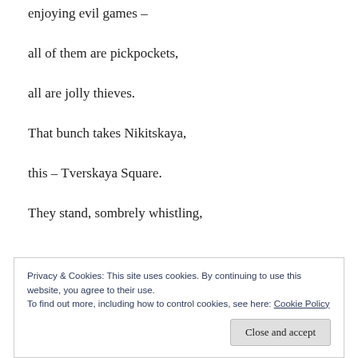enjoying evil games –
all of them are pickpockets,
all are jolly thieves.
That bunch takes Nikitskaya,
this – Tverskaya Square.
They stand, sombrely whistling,
Privacy & Cookies: This site uses cookies. By continuing to use this website, you agree to their use.
To find out more, including how to control cookies, see here: Cookie Policy
Close and accept